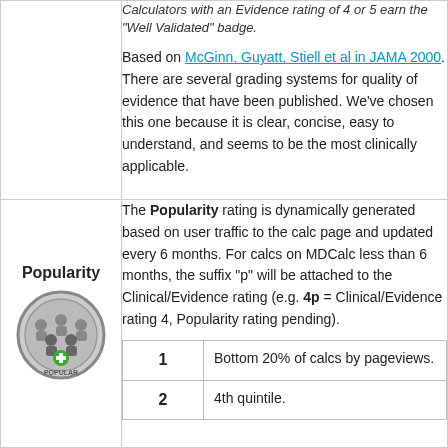Calculators with an Evidence rating of 4 or 5 earn the "Well Validated" badge.
Based on McGinn, Guyatt, Stiell et al in JAMA 2000. There are several grading systems for quality of evidence that have been published. We've chosen this one because it is clear, concise, easy to understand, and seems to be the most clinically applicable.
The Popularity rating is dynamically generated based on user traffic to the calc page and updated every 6 months. For calcs on MDCalc less than 6 months, the suffix "p" will be attached to the Clinical/Evidence rating (e.g. 4p = Clinical/Evidence rating 4, Popularity rating pending).
Popularity
|  |  |
| --- | --- |
| 1 | Bottom 20% of calcs by pageviews. |
| 2 | 4th quintile. |